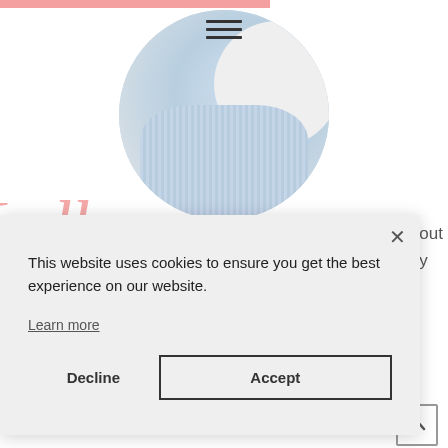[Figure (screenshot): Website background showing a circular profile photo of a person wearing a light blue ribbed sweater and white top, with a pink top bar and hamburger menu icon, and a pink cursive script logo partially visible]
bout
y
This website uses cookies to ensure you get the best experience on our website.
Learn more
Decline
Accept